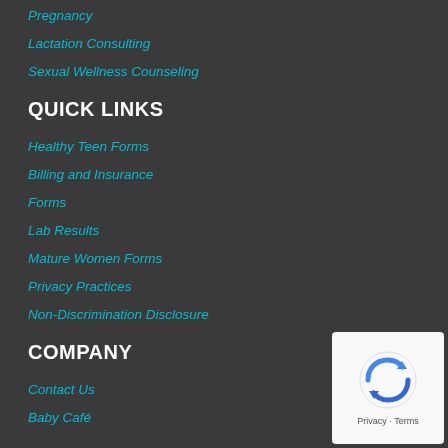Pregnancy
Lactation Consulting
Sexual Wellness Counseling
QUICK LINKS
Healthy Teen Forms
Billing and Insurance
Forms
Lab Results
Mature Women Forms
Privacy Practices
Non-Discrimination Disclosure
COMPANY
Contact Us
Baby Café
[Figure (logo): reCAPTCHA badge with recycling arrows icon and Privacy - Terms text]